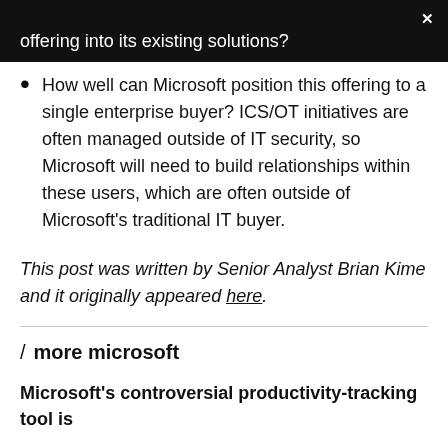offering into its existing solutions?
How well can Microsoft position this offering to a single enterprise buyer? ICS/OT initiatives are often managed outside of IT security, so Microsoft will need to build relationships within these users, which are often outside of Microsoft’s traditional IT buyer.
This post was written by Senior Analyst Brian Kime and it originally appeared here.
/ more microsoft
Microsoft’s controversial productivity-tracking tool is